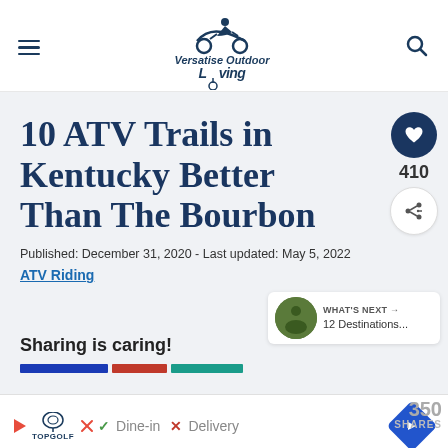Versatise Outdoor Living
10 ATV Trails in Kentucky Better Than The Bourbon
Published: December 31, 2020 - Last updated: May 5, 2022
ATV Riding
WHAT'S NEXT → 12 Destinations...
Sharing is caring!
350 SHARES